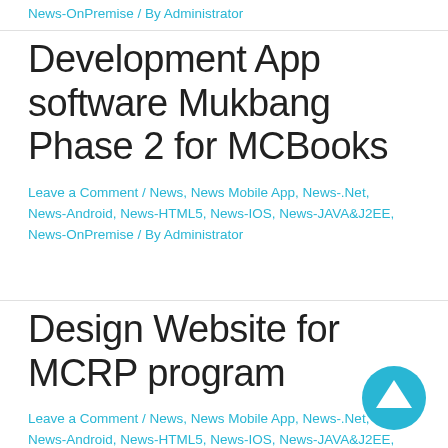News-OnPremise / By Administrator
Development App software Mukbang Phase 2 for MCBooks
Leave a Comment / News, News Mobile App, News-.Net, News-Android, News-HTML5, News-IOS, News-JAVA&J2EE, News-OnPremise / By Administrator
Design Website for MCRP program
Leave a Comment / News, News Mobile App, News-.Net, News-Android, News-HTML5, News-IOS, News-JAVA&J2EE,